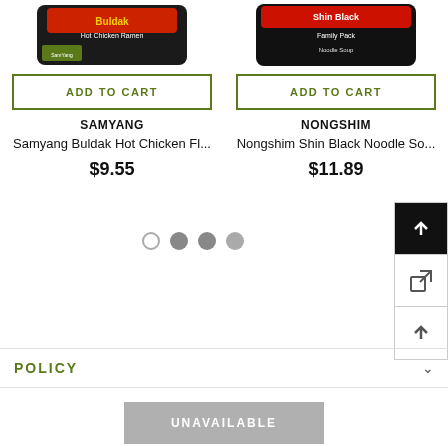[Figure (photo): Samyang Buldak Hot Chicken Flavor Ramen product package photo]
ADD TO CART
SAMYANG
Samyang Buldak Hot Chicken Fl...
$9.55
[Figure (photo): Nongshim Shin Black Noodle Soup family pack product photo]
ADD TO CART
NONGSHIM
Nongshim Shin Black Noodle So...
$11.89
[Figure (other): Carousel pagination dots: one empty circle and three filled gray circles]
[Figure (other): Side navigation buttons: back-to-top (dark), share/external link, and scroll-up arrow]
POLICY
UNAVAILABLE